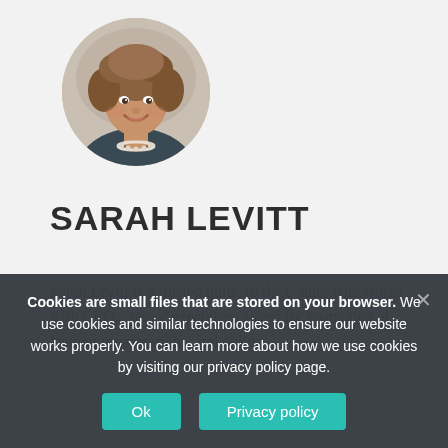[Figure (photo): Circular profile photo of Sarah Levitt, a woman with curly brown hair, smiling, wearing a dark top and pearl necklace]
SARAH LEVITT
Sarah Levitt is a trusted guide to the c-suite who works with CEOs, senior executives slated for promotion at leading organizations, and senior leaders seeking promotion to executive positions. She creates a rich learning experience for executives designed to generate leadership and business growth. Sarah is...Magnifice...
Cookies are small files that are stored on your browser. We use cookies and similar technologies to ensure our website works properly. You can learn more about how we use cookies by visiting our privacy policy page.